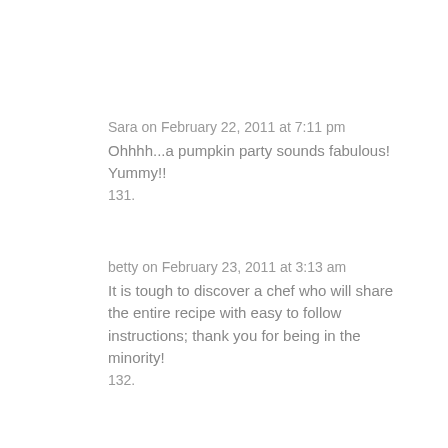Sara on February 22, 2011 at 7:11 pm
Ohhhh...a pumpkin party sounds fabulous! Yummy!! 131.
betty on February 23, 2011 at 3:13 am
It is tough to discover a chef who will share the entire recipe with easy to follow instructions; thank you for being in the minority! 132.